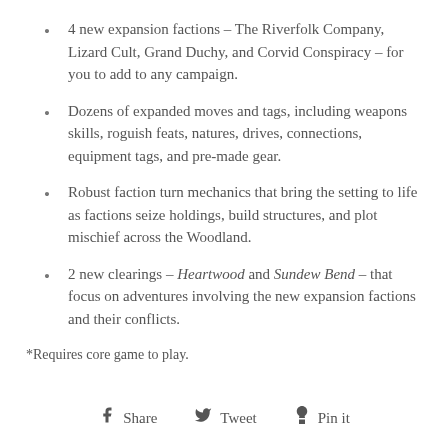4 new expansion factions – The Riverfolk Company, Lizard Cult, Grand Duchy, and Corvid Conspiracy – for you to add to any campaign.
Dozens of expanded moves and tags, including weapons skills, roguish feats, natures, drives, connections, equipment tags, and pre-made gear.
Robust faction turn mechanics that bring the setting to life as factions seize holdings, build structures, and plot mischief across the Woodland.
2 new clearings – Heartwood and Sundew Bend – that focus on adventures involving the new expansion factions and their conflicts.
*Requires core game to play.
Share  Tweet  Pin it